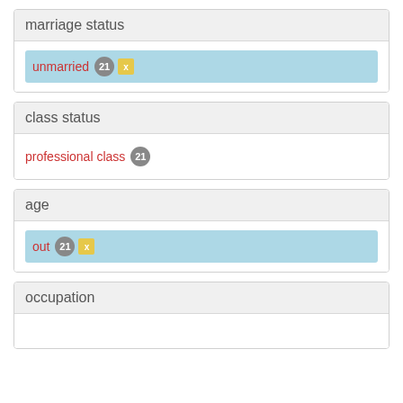marriage status
unmarried 21 x
class status
professional class 21
age
out 21 x
occupation